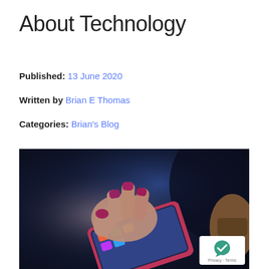About Technology
Published: 13 June 2020
Written by Brian E Thomas
Categories: Brian's Blog
[Figure (photo): Close-up photo of a hand with red/magenta painted nails touching or tapping a smartphone with a pink/red case. A second person's hand with a watch is visible on the right. Background is dark with blue tones.]